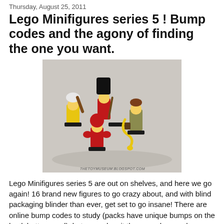Thursday, August 25, 2011
Lego Minifigures series 5 ! Bump codes and the agony of finding the one you want.
[Figure (photo): Four LEGO Minifigures from series 5 arranged on a light gray surface: a cave woman with a bone club (yellow), a royal guard in red uniform with tall black hat, a boxer in red shorts and helmet at the front, and a zookeeper/explorer with a yellow snake. Watermark reads THETOYMUSEUM.BLOGSPOT.COM]
Lego Minifigures series 5 are out on shelves, and here we go again! 16 brand new figures to go crazy about, and with blind packaging blinder than ever, get set to go insane! There are online bump codes to study (packs have unique bumps on the back bottom seal), but rumor has it they are also number tagged, so its getting pretty ridiculous. Not that the only hardcore ones want to talk to to one time